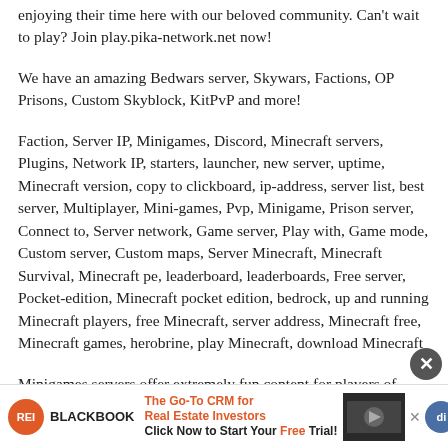enjoying their time here with our beloved community. Can't wait to play? Join play.pika-network.net now!
We have an amazing Bedwars server, Skywars, Factions, OP Prisons, Custom Skyblock, KitPvP and more!
Faction, Server IP, Minigames, Discord, Minecraft servers, Plugins, Network IP, starters, launcher, new server, uptime, Minecraft version, copy to clickboard, ip-address, server list, best server, Multiplayer, Mini-games, Pvp, Minigame, Prison server, Connect to, Server network, Game server, Play with, Game mode, Custom server, Custom maps, Server Minecraft, Minecraft Survival, Minecraft pe, leaderboard, leaderboards, Free server, Pocket-edition, Minecraft pocket edition, bedrock, up and running Minecraft players, free Minecraft, server address, Minecraft free, Minecraft games, herobrine, play Minecraft, download Minecraft
Minigames servers offer extremely fun content for players of